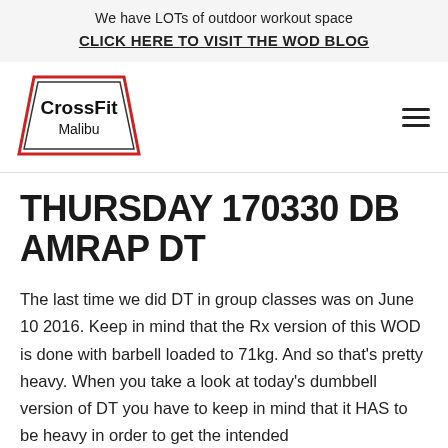We have LOTs of outdoor workout space
CLICK HERE TO VISIT THE WOD BLOG
[Figure (logo): CrossFit Malibu logo — trapezoid shape with red border, text 'CrossFit Malibu' inside]
THURSDAY 170330 DB AMRAP DT
The last time we did DT in group classes was on June 10 2016. Keep in mind that the Rx version of this WOD is done with barbell loaded to 71kg. And so that's pretty heavy. When you take a look at today's dumbbell version of DT you have to keep in mind that it HAS to be heavy in order to get the intended